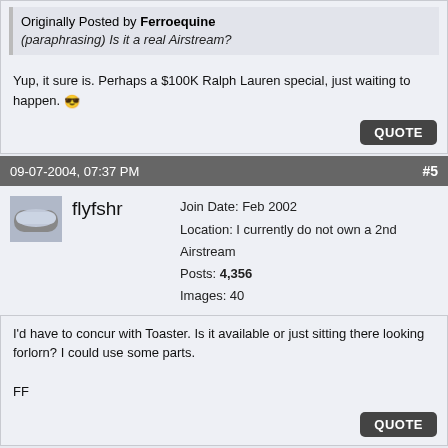Originally Posted by Ferroequine
(paraphrasing) Is it a real Airstream?
Yup, it sure is. Perhaps a $100K Ralph Lauren special, just waiting to happen. 😎
09-07-2004, 07:37 PM  #5
flyfshr
Join Date: Feb 2002
Location: I currently do not own a 2nd Airstream
Posts: 4,356
Images: 40
I'd have to concur with Toaster. Is it available or just sitting there looking forlorn? I could use some parts.

FF